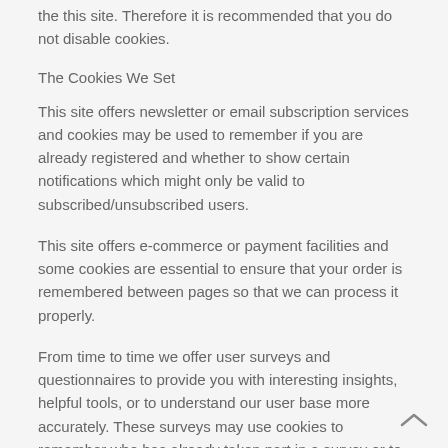the this site. Therefore it is recommended that you do not disable cookies.
The Cookies We Set
This site offers newsletter or email subscription services and cookies may be used to remember if you are already registered and whether to show certain notifications which might only be valid to subscribed/unsubscribed users.
This site offers e-commerce or payment facilities and some cookies are essential to ensure that your order is remembered between pages so that we can process it properly.
From time to time we offer user surveys and questionnaires to provide you with interesting insights, helpful tools, or to understand our user base more accurately. These surveys may use cookies to remember who has already taken part in a survey or to provide you with accurate results after you change pages.
In order to provide you with a great experience on this site we provide the functionality to set your preferences for how this site runs when you use it. In order to remember your preferences we need to set cookies so that this information can be called whenever you interact with a page is affected by your